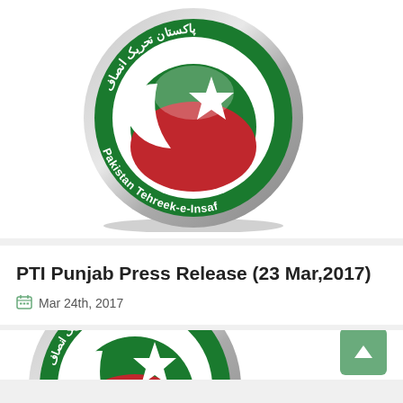[Figure (logo): Pakistan Tehreek-e-Insaf (PTI) party logo: circular badge with metallic silver border, dark green background, white crescent and star, red and green globe, Arabic text at top reading 'Pakistan Tehreek Insaf', and English text along bottom arc reading 'Pakistan Tehreek-e-Insaf']
PTI Punjab Press Release (23 Mar,2017)
Mar 24th, 2017
[Figure (logo): Partial view of the same PTI Pakistan Tehreek-e-Insaf party logo at the bottom of the page]